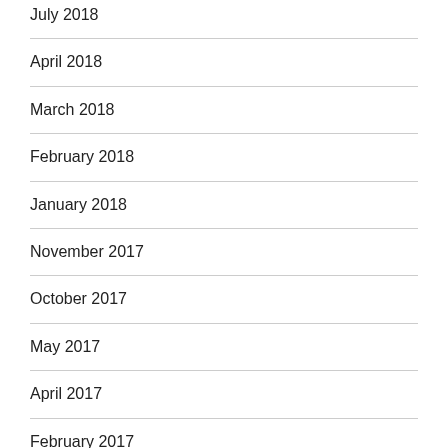July 2018
April 2018
March 2018
February 2018
January 2018
November 2017
October 2017
May 2017
April 2017
February 2017
December 2016
November 2016